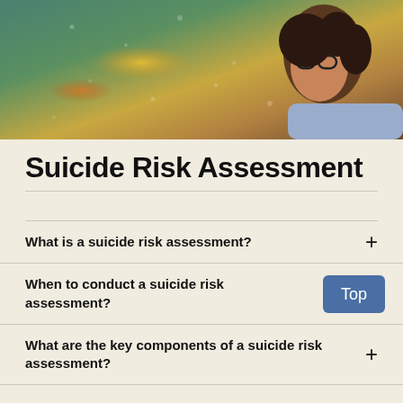[Figure (photo): A young Black woman with curly hair and glasses looking pensively out a rain-streaked window, viewed from the side.]
Suicide Risk Assessment
What is a suicide risk assessment? +
When to conduct a suicide risk assessment? [Top button]
What are the key components of a suicide risk assessment? +